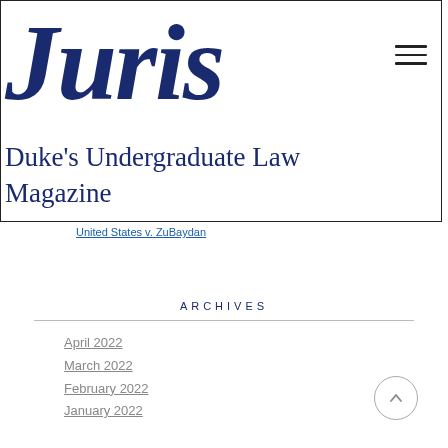Juris
Duke's Undergraduate Law Magazine
United States v. ZuBaydan
ARCHIVES
April 2022
March 2022
February 2022
January 2022